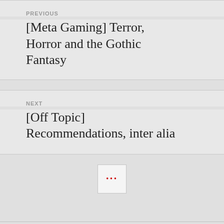PREVIOUS
[Meta Gaming] Terror, Horror and the Gothic Fantasy
NEXT
[Off Topic] Recommendations, inter alia
•••
A WordPress.com Website.